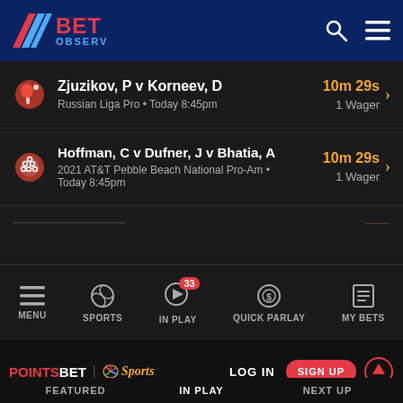[Figure (screenshot): BetObserv app header with logo (red and blue) and search/menu icons on dark blue background]
Zjuzikov, P v Korneev, D
Russian Liga Pro • Today 8:45pm
10m 29s
1 Wager
Hoffman, C v Dufner, J v Bhatia, A
2021 AT&T Pebble Beach National Pro-Am • Today 8:45pm
10m 29s
1 Wager
[Figure (screenshot): Bottom navigation bar with MENU, SPORTS, IN PLAY (badge 33), QUICK PARLAY, MY BETS icons]
[Figure (screenshot): PointsBet + NBC Sports header with LOG IN and SIGN UP button, and FEATURED / IN PLAY / NEXT UP tabs]